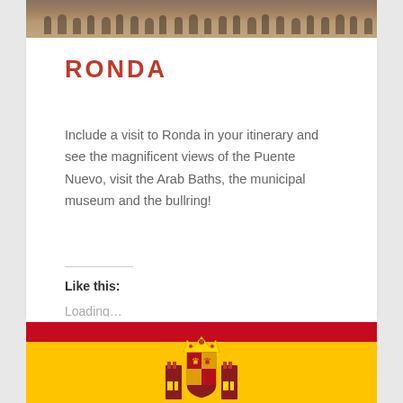[Figure (photo): Group photo of people gathered outdoors, cropped at top of page]
RONDA
Include a visit to Ronda in your itinerary and see the magnificent views of the Puente Nuevo, visit the Arab Baths, the municipal museum and the bullring!
Like this:
Loading...
[Figure (illustration): Spanish flag with coat of arms — red stripe on top, yellow in middle with coat of arms emblem, partially visible]